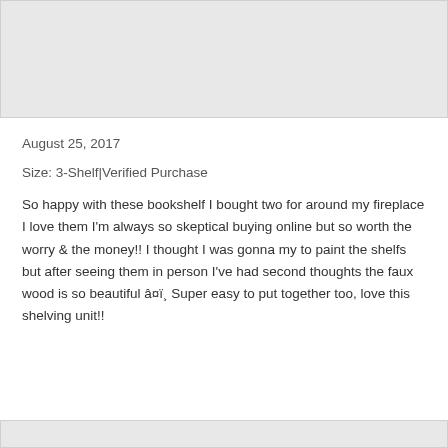[Figure (other): Gray placeholder block at top of page]
August 25, 2017
Size: 3-Shelf|Verified Purchase
So happy with these bookshelf I bought two for around my fireplace I love them I'm always so skeptical buying online but so worth the worry & the money!! I thought I was gonna my to paint the shelfs but after seeing them in person I've had second thoughts the faux wood is so beautiful â¤ï¸ Super easy to put together too, love this shelving unit!!
[Figure (other): Gray placeholder block at bottom of page]